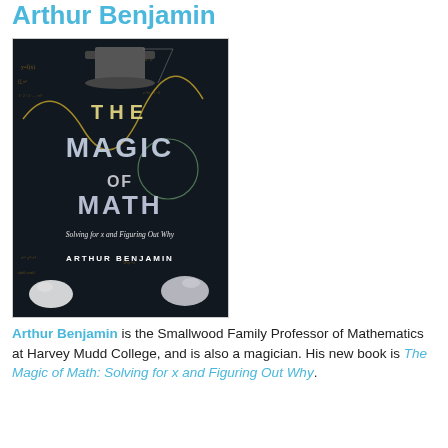Arthur Benjamin
[Figure (photo): Book cover of 'The Magic of Math: Solving for x and Figuring Out Why' by Arthur Benjamin. Dark background with mathematical formulas, a top hat, and magician's gloves. Large text reads THE MAGIC OF MATH.]
Arthur Benjamin is the Smallwood Family Professor of Mathematics at Harvey Mudd College, and is also a magician. His new book is The Magic of Math: Solving for x and Figuring Out Why.